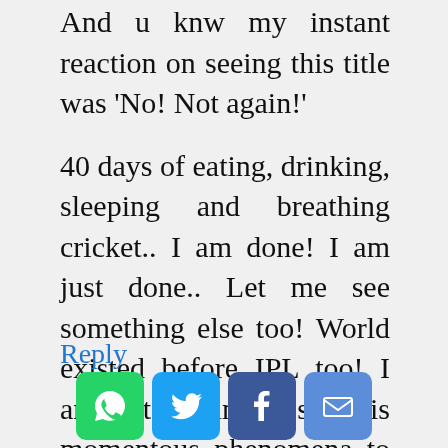And u knw my instant reaction on seeing this title was 'No! Not again!'
40 days of eating, drinking, sleeping and breathing cricket.. I am done! I am just done.. Let me see something else too! World existed before IPL too! I am just waiting to see this momentous phenomena to calm down little in coming years! Wat do you say? Or are you among the ones who are waiting for the next year IPL from the day IPL3 ended???!!!
Reply
[Figure (other): Social sharing icons: WhatsApp (green), Twitter (blue), Facebook (dark blue), Email (blue)]